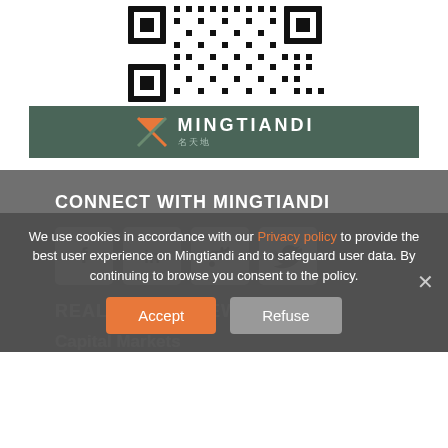[Figure (other): QR code image (black and white pattern)]
[Figure (logo): Mingtiandi logo on dark green banner with hourglass/bowtie icon and text MINGTIANDI]
CONNECT WITH MINGTIANDI
[Figure (other): Social media icons: Facebook, LinkedIn, RSS, Twitter — white rounded square buttons]
REAL ESTATE NEWS
Capital Markets
We use cookies in accordance with our Privacy policy to provide the best user experience on Mingtiandi and to safeguard user data. By continuing to browse you consent to the policy.
Accept
Refuse